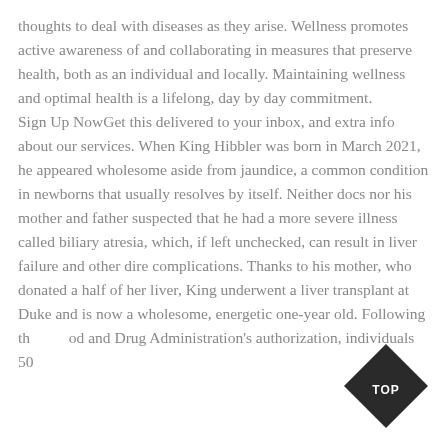thoughts to deal with diseases as they arise. Wellness promotes active awareness of and collaborating in measures that preserve health, both as an individual and locally. Maintaining wellness and optimal health is a lifelong, day by day commitment. Sign Up NowGet this delivered to your inbox, and extra info about our services. When King Hibbler was born in March 2021, he appeared wholesome aside from jaundice, a common condition in newborns that usually resolves by itself. Neither docs nor his mother and father suspected that he had a more severe illness called biliary atresia, which, if left unchecked, can result in liver failure and other dire complications. Thanks to his mother, who donated a half of her liver, King underwent a liver transplant at Duke and is now a wholesome, energetic one-year old. Following the Food and Drug Administration's authorization, individuals 50